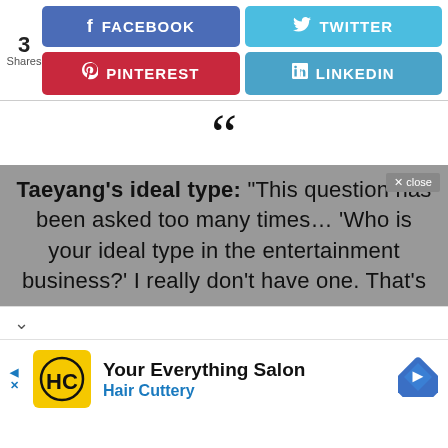[Figure (screenshot): Social share bar with 3 Shares count, Facebook, Twitter, Pinterest, LinkedIn buttons]
[Figure (screenshot): Large open quotation mark decorative element]
Taeyang's ideal type: "This question has been asked too many times… 'Who is your ideal type in the entertainment business?' I really don't have one. That's
[Figure (screenshot): Advertisement for Hair Cuttery - Your Everything Salon]